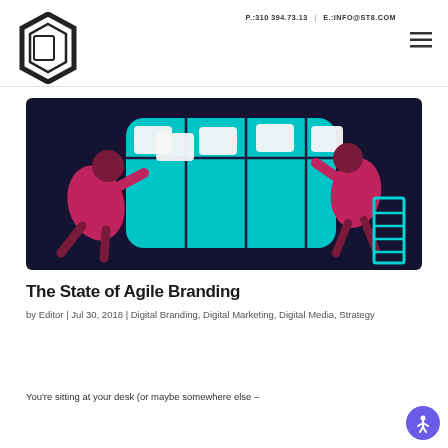P.:310 394.73.13 | E.:INFO@ST8.COM
[Figure (logo): ST8 agency hexagonal logo mark in black]
[Figure (illustration): Illustration of two figures arranging sticky notes on a kanban board against dark navy background with cyan board. One figure on left leans in and one on right stands on a ladder.]
The State of Agile Branding
by Editor | Jul 30, 2018 | Digital Branding, Digital Marketing, Digital Media, Strategy
You're sitting at your desk (or maybe somewhere else –